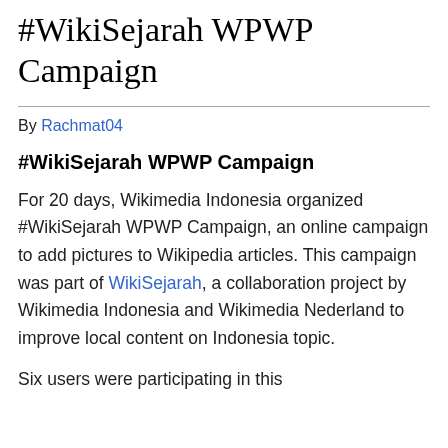#WikiSejarah WPWP Campaign
By Rachmat04
#WikiSejarah WPWP Campaign
For 20 days, Wikimedia Indonesia organized #WikiSejarah WPWP Campaign, an online campaign to add pictures to Wikipedia articles. This campaign was part of WikiSejarah, a collaboration project by Wikimedia Indonesia and Wikimedia Nederland to improve local content on Indonesia topic.
Six users were participating in this